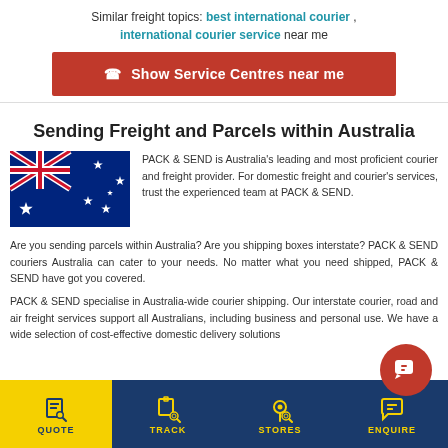Similar freight topics: best international courier , international courier service near me
Show Service Centres near me
Sending Freight and Parcels within Australia
[Figure (illustration): Australian flag illustration]
PACK & SEND is Australia's leading and most proficient courier and freight provider. For domestic freight and courier's services, trust the experienced team at PACK & SEND.
Are you sending parcels within Australia? Are you shipping boxes interstate? PACK & SEND couriers Australia can cater to your needs. No matter what you need shipped, PACK & SEND have got you covered.
PACK & SEND specialise in Australia-wide courier shipping. Our interstate courier, road and air freight services support all Australians, including business and personal use. We have a wide selection of cost-effective domestic delivery solutions
QUOTE   TRACK   STORES   ENQUIRE